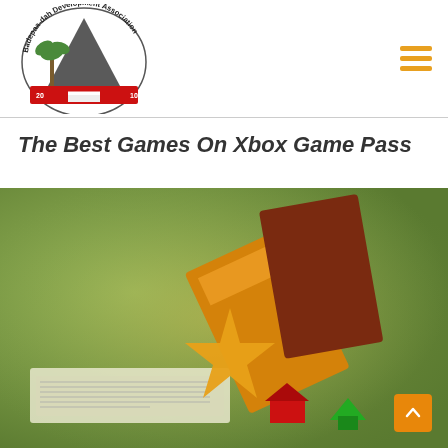[Figure (logo): Badepaa-dah Development Association circular logo with palm tree and mountain, Indonesian flag colors ribbon, years 2010]
The Best Games On Xbox Game Pass
[Figure (photo): Close-up photo of a board game (resembling Monopoly) showing colorful plastic pieces including red and green houses, orange and red property cards, and a game board with green background]